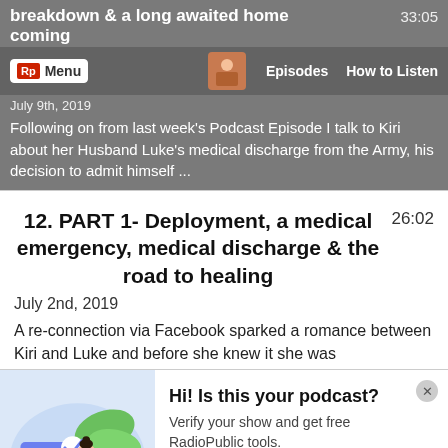breakdown & a long awaited home coming
33:05
Rp Menu | Episodes | How to Listen
July 9th, 2019
Following on from last week's Podcast Episode I talk to Kiri about her Husband Luke's medical discharge from the Army, his decision to admit himself ...
12. PART 1- Deployment, a medical emergency, medical discharge & the road to healing
26:02
July 2nd, 2019
A re-connection via Facebook sparked a romance between Kiri and Luke and before she knew it she was
[Figure (illustration): Illustration of a woman standing next to a large certificate/card with a checkmark, with green leaves in the background]
Hi! Is this your podcast?
Verify your show and get free RadioPublic tools.
Get started